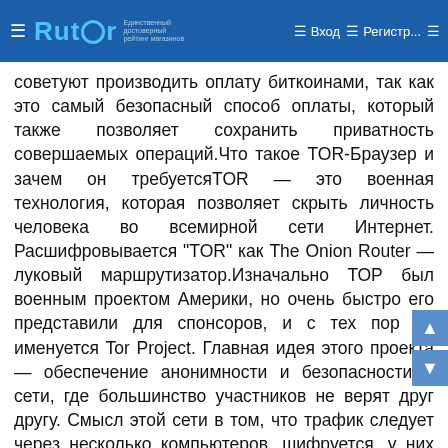☰ Rutor  ☰ Вход  ☰ Регистр...  ☰
советуют производить оплату биткоинами, так как это самый безопасный способ оплаты, который также позволяет сохранить приватность совершаемых операций.Что такое TOR-Браузер и зачем он требуетсяTOR — это военная технология, которая позволяет скрыть личность человека во всемирной сети Интернет. Расшифровывается "TOR" как The Onion Router — луковый маршрутизатор.Изначально ТОР был военным проектом Америки, но очень быстро его представили для спонсоров, и с тех пор он именуется Tor Project. Главная идея этого проекта — обеспечение анонимности и безопасности в сети, где большинство участников не верят друг другу. Смысл этой сети в том, что трафик следует через несколько компьютеров, шифруется, у них меняется IP-адрес и вы получаете зашифрованный канал передачи данных.Что обязательно надо учитывать при работе с Гидрой?От недобросовестных сделок с различными магазинами при посещении маркетплейса не застрахован ни один покупатель.Поэтому администраторы Гидры рекомендуют:смотреть на отзывы. Отзывы клиентов